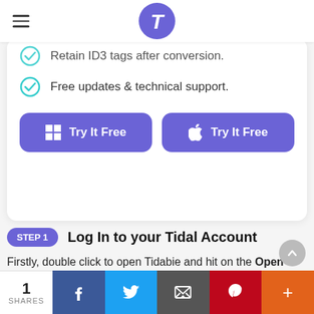Tidabie logo and hamburger menu
Retain ID3 tags after conversion.
Free updates & technical support.
[Figure (screenshot): Two purple rounded buttons: Windows Try It Free and Apple Try It Free]
STEP 1  Log In to your Tidal Account
Firstly, double click to open Tidabie and hit on the Open Tidal Web Player button in the middle of the page. Follow the instructions to click on the Log In
1 SHARES | Facebook | Twitter | Email | Pinterest | More